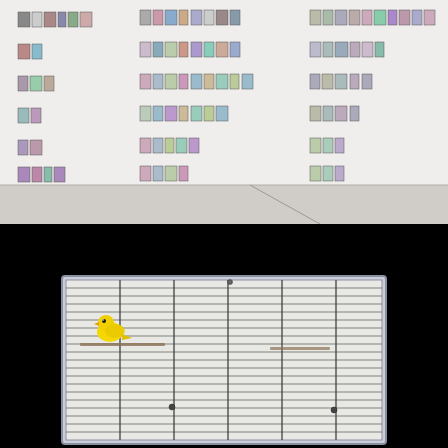[Figure (photo): Gallery installation view showing rows of small artworks or printed cards arranged in grid-like horizontal rows on a white wall. The floor is visible at the bottom. Multiple rows of colorful small rectangular pieces arranged across the wall.]
[Figure (photo): Dark background with a photograph of a birdcage or wire grid panel on a light background. A single yellow canary bird is perched on a horizontal bar inside the cage in the left-center area. The cage has horizontal and vertical wire elements forming a grid pattern.]